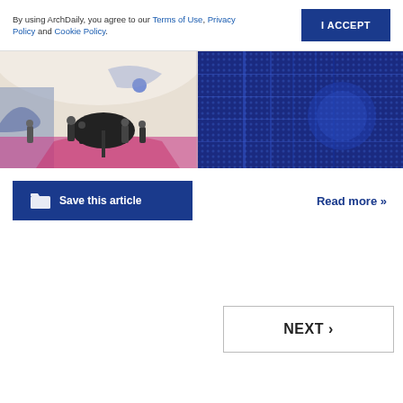By using ArchDaily, you agree to our Terms of Use, Privacy Policy and Cookie Policy.
I ACCEPT
[Figure (photo): Wide panoramic photo of an art gallery interior on the left side showing visitors, colorful wall murals in pink and blue, and a large black umbrella installation. The right side transitions into a dark blue halftone/dot-pattern architectural image.]
Save this article
Read more »
NEXT ›